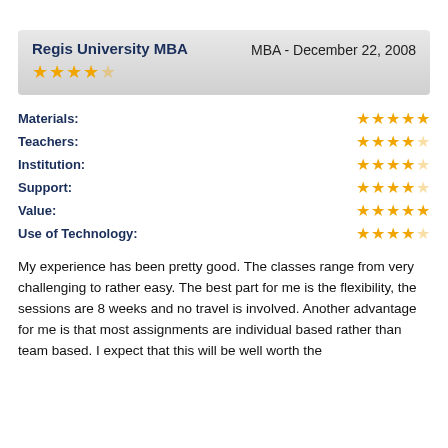Regis University MBA — MBA - December 22, 2008
| Category | Rating |
| --- | --- |
| Materials: | 5 stars |
| Teachers: | 4.5 stars |
| Institution: | 4.5 stars |
| Support: | 4 stars |
| Value: | 5 stars |
| Use of Technology: | 4.5 stars |
My experience has been pretty good. The classes range from very challenging to rather easy. The best part for me is the flexibility, the sessions are 8 weeks and no travel is involved. Another advantage for me is that most assignments are individual based rather than team based. I expect that this will be well worth the